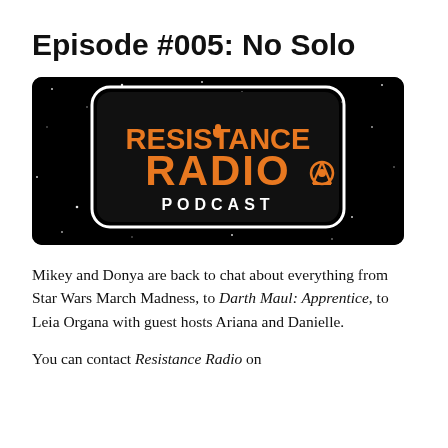Episode #005: No Solo
[Figure (logo): Resistance Radio Podcast logo on a starfield background. Black rounded rectangle with orange block text 'RESISTANCE RADIO' and 'PODCAST' in white below, with the Rebel Alliance symbol.]
Mikey and Donya are back to chat about everything from Star Wars March Madness, to Darth Maul: Apprentice, to Leia Organa with guest hosts Ariana and Danielle.
You can contact Resistance Radio on